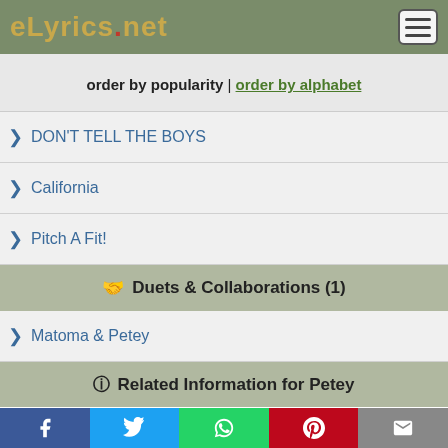eLyrics.net
order by popularity | order by alphabet
DON'T TELL THE BOYS
California
Pitch A Fit!
Duets & Collaborations (1)
Matoma & Petey
Related Information for Petey
Moses Barrett III (born June 17, 1979 in Greenville, North Carolina), better known by his stage name Petey Pablo, is a